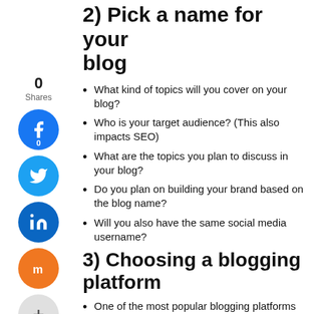2) Pick a name for your blog
What kind of topics will you cover on your blog?
Who is your target audience? (This also impacts SEO)
What are the topics you plan to discuss in your blog?
Do you plan on building your brand based on the blog name?
Will you also have the same social media username?
3) Choosing a blogging platform
One of the most popular blogging platforms out there is WordPress. It also